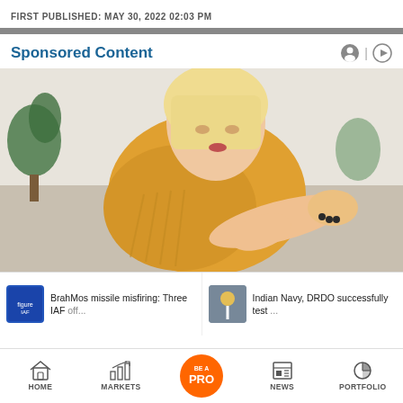FIRST PUBLISHED: MAY 30, 2022 02:03 PM
Sponsored Content
[Figure (photo): Woman in yellow sweater looking at her forearm/elbow, seated on a couch with plants in background]
BrahMos missile misfiring: Three IAF off...
Indian Navy, DRDO successfully test ...
HOME | MARKETS | BE A PRO | NEWS | PORTFOLIO